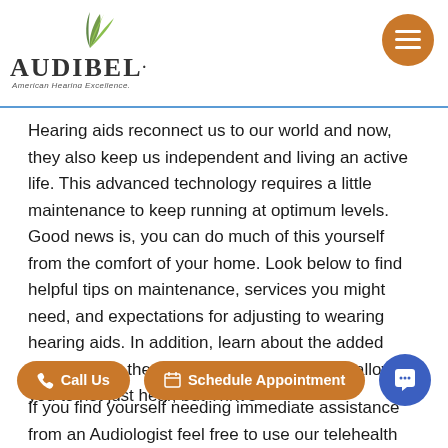[Figure (logo): Audibel logo with feather/leaf graphic in green, text 'AUDIBEL.' in serif font, tagline 'American Hearing Excellence.']
Hearing aids reconnect us to our world and now, they also keep us independent and living an active life. This advanced technology requires a little maintenance to keep running at optimum levels. Good news is, you can do much of this yourself from the comfort of your home. Look below to find helpful tips on maintenance, services you might need, and expectations for adjusting to wearing hearing aids. In addition, learn about the added features that the latest technology includes allowing you to not just hear, but Thrive
If you find yourself needing immediate assistance from an Audiologist feel free to use our telehealth option.